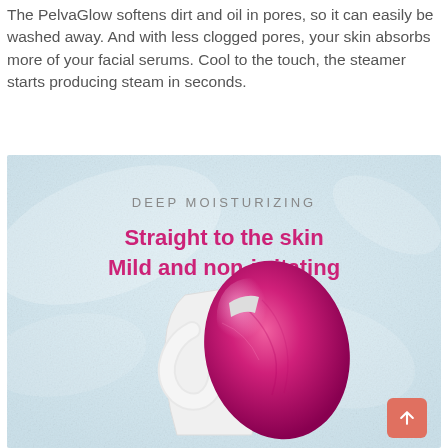The PelvaGlow softens dirt and oil in pores, so it can easily be washed away. And with less clogged pores, your skin absorbs more of your facial serums. Cool to the touch, the steamer starts producing steam in seconds.
[Figure (photo): Product photo of a facial steamer device with a white body and pink/magenta oval head. Background is light blue with text overlay reading 'DEEP MOISTURIZING' in grey and 'Straight to the skin / Mild and non-irritating' in bold pink/magenta. A salmon-colored scroll-to-top button is in the bottom right corner.]